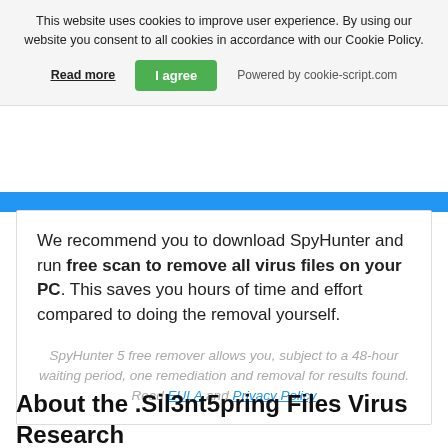This website uses cookies to improve user experience. By using our website you consent to all cookies in accordance with our Cookie Policy.
Read more | I agree | Powered by cookie-script.com
We recommend you to download SpyHunter and run free scan to remove all virus files on your PC. This saves you hours of time and effort compared to doing the removal yourself.
SpyHunter 5 free remover allows you, subject to a 48-hour waiting period, one remediation and removal for results found. Read EULA and Privacy Policy
About the .Sil3nt5pring Files Virus Research